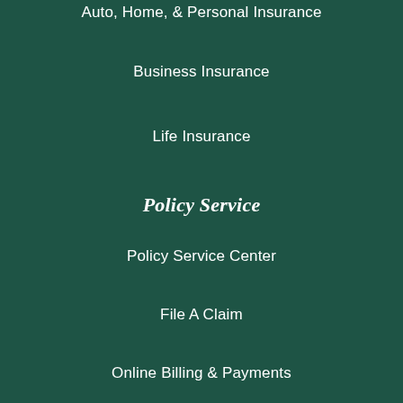Auto, Home, & Personal Insurance
Business Insurance
Life Insurance
Policy Service
Policy Service Center
File A Claim
Online Billing & Payments